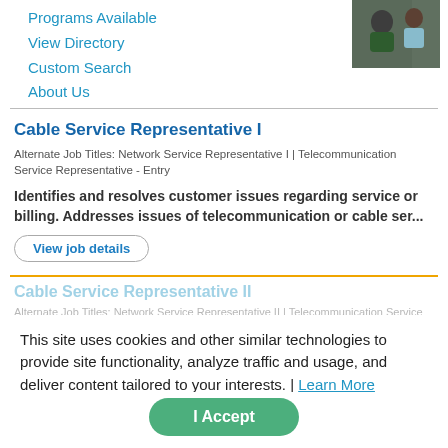Programs Available
View Directory
Custom Search
About Us
[Figure (photo): Photo of two people, one in green shirt, looking at a screen]
Cable Service Representative I
Alternate Job Titles: Network Service Representative I | Telecommunication Service Representative - Entry
Identifies and resolves customer issues regarding service or billing. Addresses issues of telecommunication or cable ser...
View job details
Cable Service Representative II
Alternate Job Titles: Network Service Representative II | Telecommunication Service Representative - Entry
Identifies and resolves customer issues regarding service or billing. Addresses issues of telecommunication or cable ser...
View job details
This site uses cookies and other similar technologies to provide site functionality, analyze traffic and usage, and deliver content tailored to your interests. | Learn More
I Accept